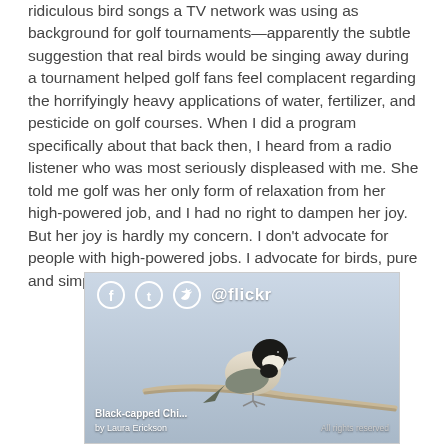ridiculous bird songs a TV network was using as background for golf tournaments—apparently the subtle suggestion that real birds would be singing away during a tournament helped golf fans feel complacent regarding the horrifyingly heavy applications of water, fertilizer, and pesticide on golf courses. When I did a program specifically about that back then, I heard from a radio listener who was most seriously displeased with me. She told me golf was her only form of relaxation from her high-powered job, and I had no right to dampen her joy. But her joy is hardly my concern. I don't advocate for people with high-powered jobs. I advocate for birds, pure and simple.
[Figure (photo): A Black-capped Chickadee perched on a branch, photographed by Laura Erickson. Social media sharing icons (Facebook, Tumblr, Twitter) and Flickr branding overlay the top of the image. Caption reads 'Black-capped Chi...' and 'by Laura Erickson' with 'All rights reserved' on the right.]